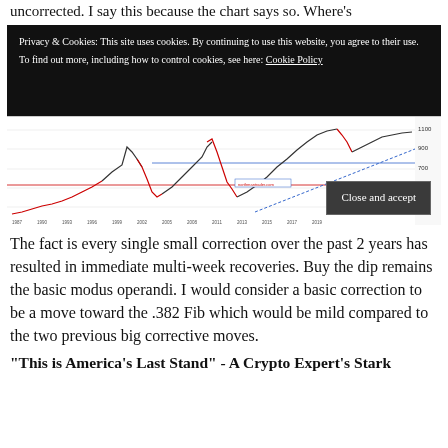uncorrected. I say this because the chart says so. Where's
[Figure (screenshot): Cookie & Privacy banner overlay on a dark background with 'Close and accept' button, overlaying a financial chart showing a long-term price chart with red and black candlestick/line data, blue and red horizontal lines, and a diagonal blue trend line. X-axis shows years from 1987 to 2019, Y-axis shows values from roughly 200 to 1100.]
The fact is every single small correction over the past 2 years has resulted in immediate multi-week recoveries. Buy the dip remains the basic modus operandi. I would consider a basic correction to be a move toward the .382 Fib which would be mild compared to the two previous big corrective moves.
"This is America's Last Stand" - A Crypto Expert's Stark